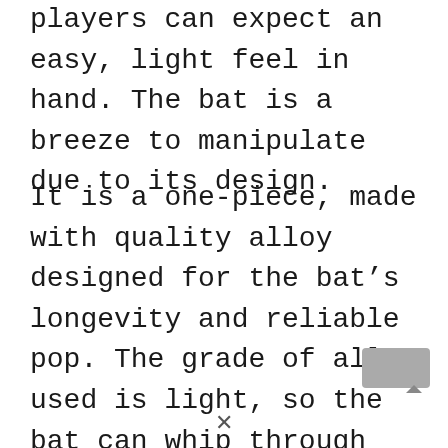players can expect an easy, light feel in hand. The bat is a breeze to manipulate due to its design.
It is a one-piece, made with quality alloy designed for the bat's longevity and reliable pop. The grade of alloy used is light, so the bat can whip through the air with the utmost ease.